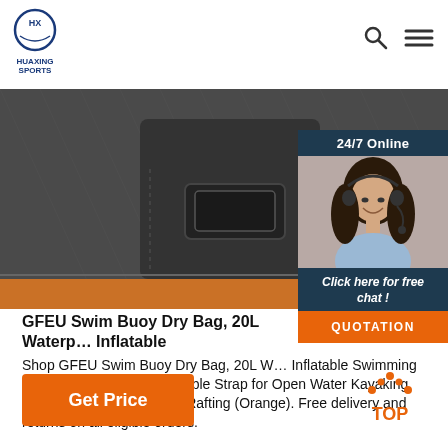HUAXING SPORTS — logo with search and menu icons
[Figure (photo): Close-up product photo of a dark grey/black swim buoy dry bag with orange accent stripe and buckle hardware visible]
GFEU Swim Buoy Dry Bag, 20L Waterproof Inflatable
Shop GFEU Swim Buoy Dry Bag, 20L Waterproof Inflatable Swimming Tow Float Bag with Adjustable Strap for Open Water Kayaking Boating Canoeing Fishing Rafting (Orange). Free delivery and returns on all eligible orders.
Get Price
[Figure (infographic): 24/7 Online chat widget with customer service representative photo, 'Click here for free chat!' text, and QUOTATION button. Also TOP navigation button.]